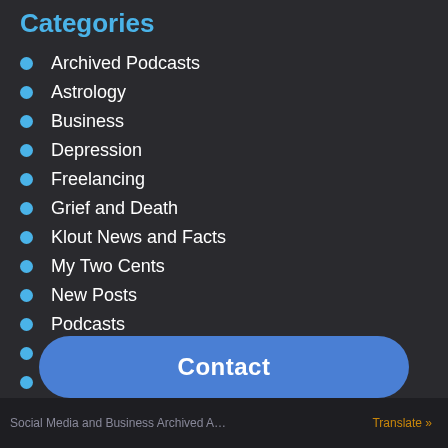Categories
Archived Podcasts
Astrology
Business
Depression
Freelancing
Grief and Death
Klout News and Facts
My Two Cents
New Posts
Podcasts
Product Reviews
Recent News
Contact
Social Media and Business Archived A…   Translate »